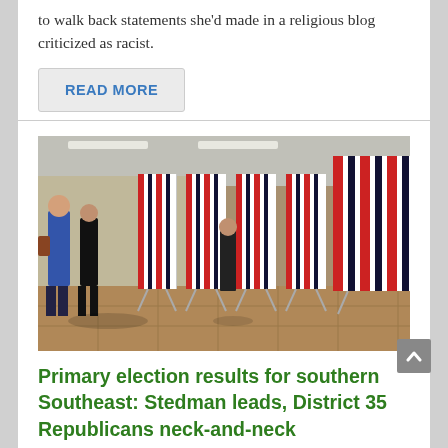to walk back statements she'd made in a religious blog criticized as racist.
READ MORE
[Figure (photo): A row of red, white, and blue striped voting booths/curtains in what appears to be a polling place. People can be seen in the background walking near the booths.]
Primary election results for southern Southeast: Stedman leads, District 35 Republicans neck-and-neck